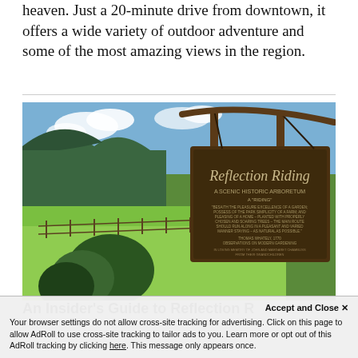heaven. Just a 20-minute drive from downtown, it offers a wide variety of outdoor adventure and some of the most amazing views in the region.
[Figure (photo): Outdoor wooden sign for 'Reflection Riding – A Scenic Historic Arboretum' hanging from a rustic wooden post, with green fields, trees, and a mountain in the background under a partly cloudy blue sky.]
An Insider's Guide to Reflection R…
Your browser settings do not allow cross-site tracking for advertising. Click on this page to allow AdRoll to use cross-site tracking to tailor ads to you. Learn more or opt out of this AdRoll tracking by clicking here. This message only appears once.